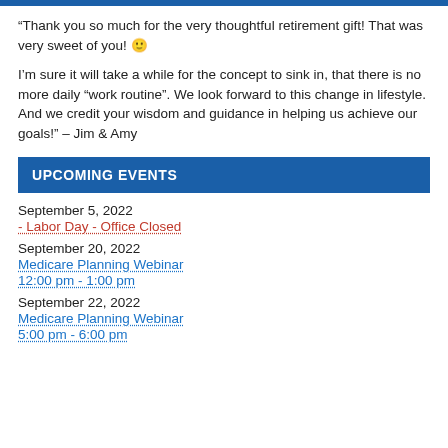“Thank you so much for the very thoughtful retirement gift! That was very sweet of you! 🙂
I’m sure it will take a while for the concept to sink in, that there is no more daily “work routine”. We look forward to this change in lifestyle. And we credit your wisdom and guidance in helping us achieve our goals!” – Jim & Amy
UPCOMING EVENTS
September 5, 2022
- Labor Day - Office Closed
September 20, 2022
Medicare Planning Webinar
12:00 pm - 1:00 pm
September 22, 2022
Medicare Planning Webinar
5:00 pm - 6:00 pm